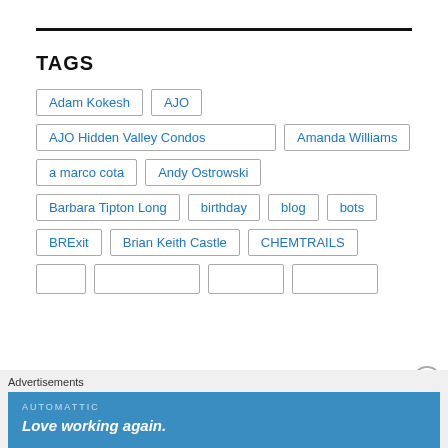TAGS
Adam Kokesh
AJO
AJO Hidden Valley Condos
Amanda Williams
a marco cota
Andy Ostrowski
Barbara Tipton Long
birthday
blog
bots
BRExit
Brian Keith Castle
CHEMTRAILS
Advertisements
AUTOMATTIC
Love working again.